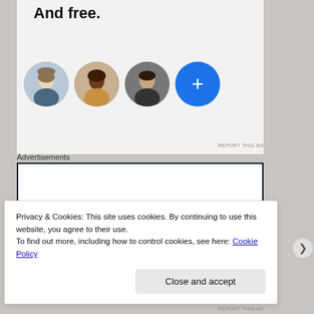And free.
[Figure (illustration): Row of four circular avatar images: three profile photos (woman, black woman, man) and a blue circle with a plus sign indicating more members]
REPORT THIS AD
Advertisements
[Figure (other): Advertisement box with the word 'Opinions.' in large dark serif font on white background with dark border]
Privacy & Cookies: This site uses cookies. By continuing to use this website, you agree to their use.
To find out more, including how to control cookies, see here: Cookie Policy
Close and accept
REPORT THIS AD